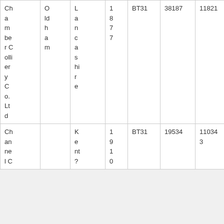| Chamber Collier y Co. Ltd | Oldham | Lancashire | 1877 | BT31 | 38187 | 11821 |
| Channel C |  | Kent? | 1910 | BT31 | 19534 | 110343 |